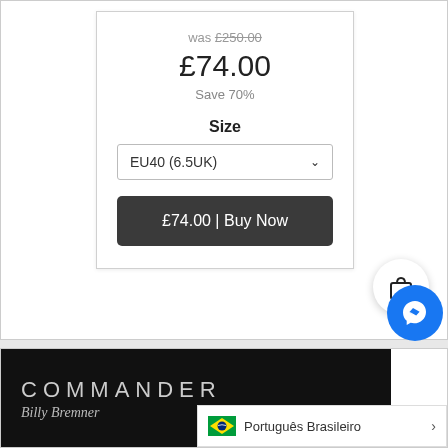was £250.00
£74.00
Save 70%
Size
EU40 (6.5UK)
£74.00 | Buy Now
[Figure (screenshot): Shopping bag icon button (circular white button)]
[Figure (screenshot): COMMANDER Billy Bremner dark background image]
[Figure (screenshot): Brazil flag icon]
Português Brasileiro
[Figure (screenshot): Facebook Messenger circular blue button]